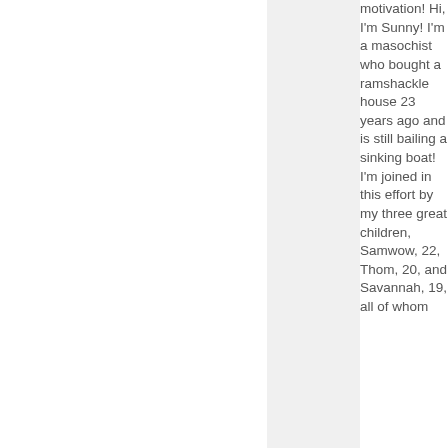motivation! Hi, I'm Sunny! I'm a masochist who bought a ramshackle house 23 years ago and is still bailing a sinking boat! I'm joined in this effort by my three great children, Samwow, 22, Thom, 20, and Savannah, 19, all of whom